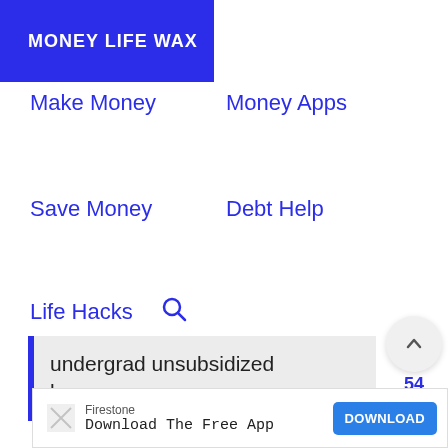MONEY LIFE WAX
Make Money
Money Apps
Save Money
Debt Help
Life Hacks
undergrad unsubsidized loans.
Firestone
Download The Free App
DOWNLOAD